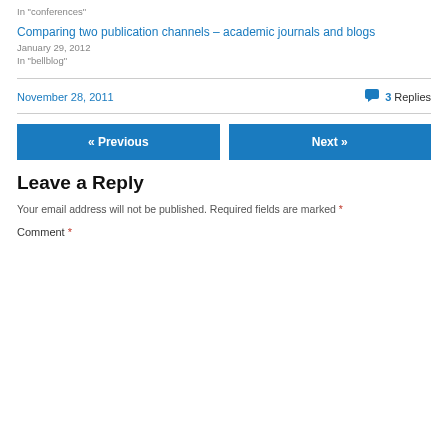In "conferences"
Comparing two publication channels – academic journals and blogs
January 29, 2012
In "bellblog"
November 28, 2011
3 Replies
« Previous
Next »
Leave a Reply
Your email address will not be published. Required fields are marked *
Comment *